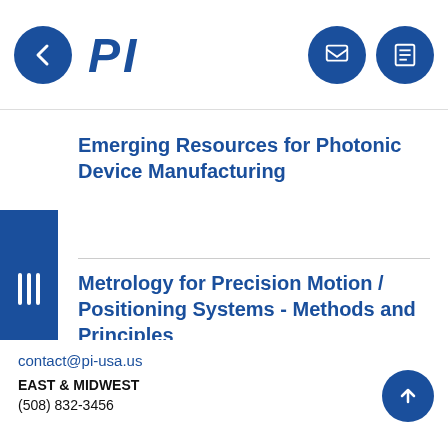PI
Emerging Resources for Photonic Device Manufacturing
Metrology for Precision Motion / Positioning Systems - Methods and Principles
LOAD MORE
contact@pi-usa.us
EAST & MIDWEST
(508) 832-3456